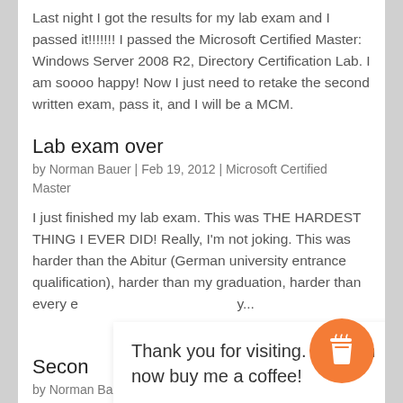Last night I got the results for my lab exam and I passed it!!!!!!! I passed the Microsoft Certified Master: Windows Server 2008 R2, Directory Certification Lab. I am soooo happy! Now I just need to retake the second written exam, pass it, and I will be a MCM.
Lab exam over
by Norman Bauer | Feb 19, 2012 | Microsoft Certified Master
I just finished my lab exam. This was THE HARDEST THING I EVER DID! Really, I'm not joking. This was harder than the Abitur (German university entrance qualification), harder than my graduation, harder than every e...y...
Thank you for visiting. You can now buy me a coffee!
Secon...
by Norman Bauer | Feb 10, 2012 | Microsoft Certified